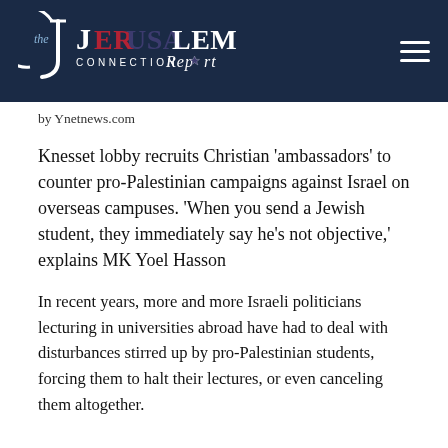[Figure (logo): The Jerusalem Connection Report logo on dark navy background with hamburger menu icon]
by Ynetnews.com
Knesset lobby recruits Christian 'ambassadors' to counter pro-Palestinian campaigns against Israel on overseas campuses. 'When you send a Jewish student, they immediately say he's not objective,' explains MK Yoel Hasson
In recent years, more and more Israeli politicians lecturing in universities abroad have had to deal with disturbances stirred up by pro-Palestinian students, forcing them to halt their lectures, or even canceling them altogether.